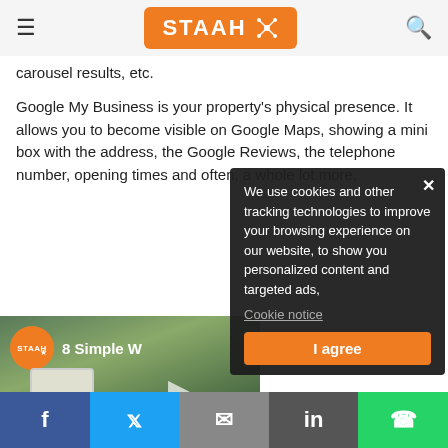STAAH (logo) — hamburger menu and search icons
carousel results, etc.
Google My Business is your property's physical presence. It allows you to become visible on Google Maps, showing a mini box with the address, the Google Reviews, the telephone number, opening times and often, a whole lot more.
[Figure (screenshot): STAAH branded video thumbnail showing '8 Simple W...' text with a device image and play button overlay]
[Figure (other): Cookie consent popup: 'We use cookies and other tracking technologies to improve your browsing experience on our website, to show you personalized content and targeted ads,' with Cookie notice link and I agree button]
Social share bar: Facebook, Twitter, Email, LinkedIn, WhatsApp